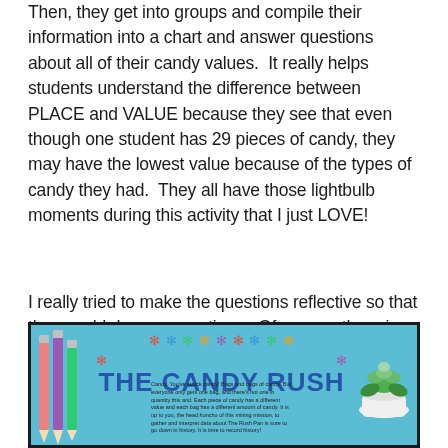Then, they get into groups and compile their information into a chart and answer questions about all of their candy values.  It really helps students understand the difference between PLACE and VALUE because they see that even though one student has 29 pieces of candy, they may have the lowest value because of the types of candy they had.  They all have those lightbulb moments during this activity that I just LOVE!
I really tried to make the questions reflective so that they could draw connections.  Of course, there is plenty of other math practice included, too!  You can grab the activity HERE.
[Figure (illustration): Banner for 'The Candy Rush' educational activity showing colorful snowflake/flower decorations, the title 'THE CANDY RUSH' in dark blue bold text, colored pencils on the left, a succulent plant on the right, and small descriptive text at the bottom, all on a teal/blue wood-grain background.]